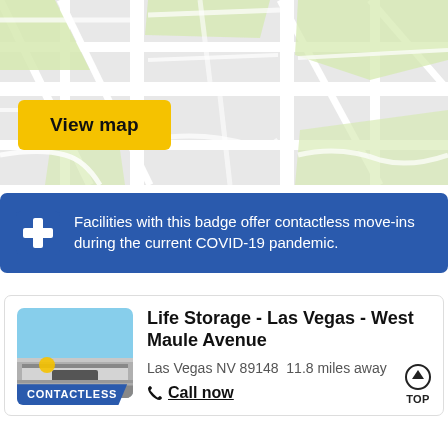[Figure (map): Street map view of Las Vegas area with a yellow 'View map' button overlay]
Facilities with this badge offer contactless move-ins during the current COVID-19 pandemic.
Life Storage - Las Vegas - West Maule Avenue
Las Vegas NV 89148  11.8 miles away
Call now